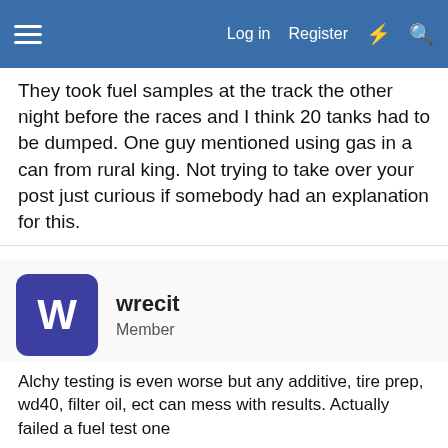Log in  Register
They took fuel samples at the track the other night before the races and I think 20 tanks had to be dumped. One guy mentioned using gas in a can from rural king. Not trying to take over your post just curious if somebody had an explanation for this.
wrecit
Member
May 26, 2022  #8
JanGaLanG said:
They took fuel samples at the track the other night before the races and I think 20 tanks had to be dumped. One guy mentioned using gas in a can from rural king. Not trying to take over your post just curious if somebody had an explanation for this.
Alchy testing is even worse but any additive, tire prep, wd40, filter oil, ect can mess with results. Actually failed a fuel test one